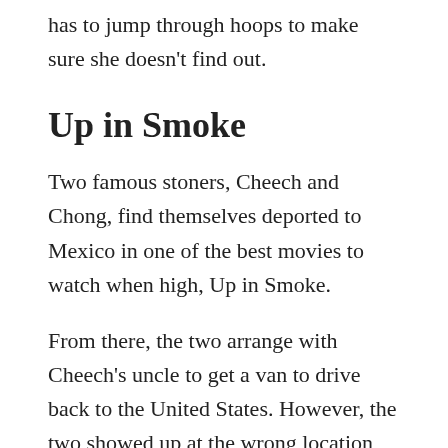has to jump through hoops to make sure she doesn't find out.
Up in Smoke
Two famous stoners, Cheech and Chong, find themselves deported to Mexico in one of the best movies to watch when high, Up in Smoke.
From there, the two arrange with Cheech's uncle to get a van to drive back to the United States. However, the two showed up at the wrong location for the van. They instead showed up at a shop that produces solids made out of weed.
They unknowingly get a van made completely